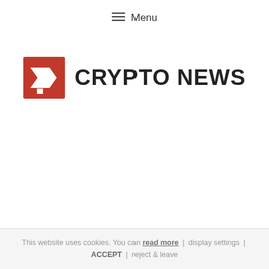≡ Menu
[Figure (logo): Crypto News logo: red square with white arrow/question mark icon on the left, bold text CRYPTO NEWS on the right]
This website uses cookies. You can read more | display settings | ACCEPT | reject & leave